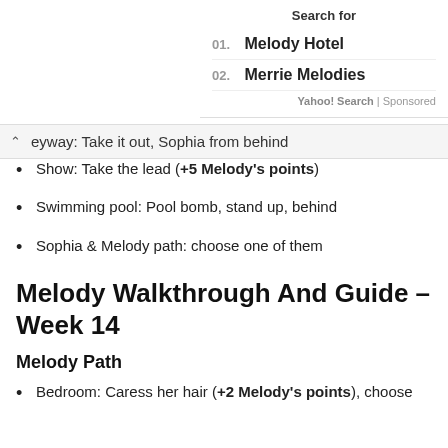Search for
01. Melody Hotel
02. Merrie Melodies
Yahoo! Search | Sponsored
eyway: Take it out, Sophia from behind
Show: Take the lead (+5 Melody's points)
Swimming pool: Pool bomb, stand up, behind
Sophia & Melody path: choose one of them
Melody Walkthrough And Guide – Week 14
Melody Path
Bedroom: Caress her hair (+2 Melody's points), choose